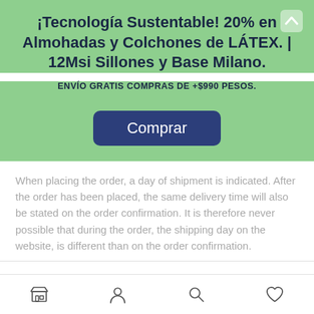¡Tecnología Sustentable! 20% en Almohadas y Colchones de LÁTEX. | 12Msi Sillones y Base Milano.
ENVÍO GRATIS COMPRAS DE +$990 PESOS.
[Figure (other): Dark blue rounded button with text 'Comprar']
When placing the order, a day of shipment is indicated. After the order has been placed, the same delivery time will also be stated on the order confirmation. It is therefore never possible that during the order, the shipping day on the website, is different than on the order confirmation.
I now see the longer delivery time of (a part of) my order. How can I cancel it?
[Figure (other): Bottom navigation bar with store, account, search, and heart/wishlist icons]